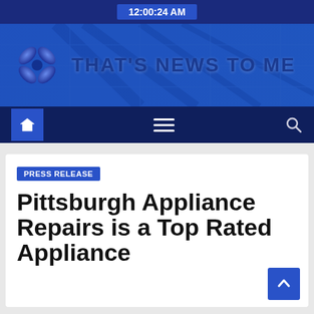12:00:24 AM
[Figure (logo): That's News To Me website header banner with logo icon and site name text on blue background with city skyline overlay]
[Figure (screenshot): Navigation bar with home icon (blue background), hamburger menu (three lines), and search icon on dark navy background]
PRESS RELEASE
Pittsburgh Appliance Repairs is a Top Rated Appliance